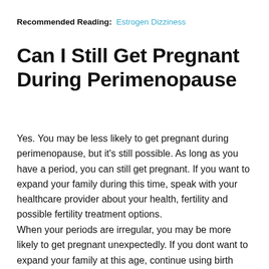Recommended Reading:  Estrogen Dizziness
Can I Still Get Pregnant During Perimenopause
Yes. You may be less likely to get pregnant during perimenopause, but it's still possible. As long as you have a period, you can still get pregnant. If you want to expand your family during this time, speak with your healthcare provider about your health, fertility and possible fertility treatment options.
When your periods are irregular, you may be more likely to get pregnant unexpectedly. If you dont want to expand your family at this age, continue using birth control until your